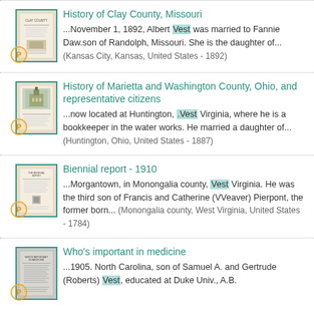History of Clay County, Missouri — ...November 1, 1892, Albert Vest was married to Fannie Daw.son of Randolph, Missouri. She is the daughter of... (Kansas City, Kansas, United States - 1892)
History of Marietta and Washington County, Ohio, and representative citizens — ...now located at Huntington, .Vest Virginia, where he is a bookkeeper in the water works. He married a daughter of... (Huntington, Ohio, United States - 1887)
Biennial report - 1910 — ...Morgantown, in Monongalia county, Vest Virginia. He was the third son of Francis and Catherine (VVeaver) Pierpont, the former born... (Monongalia county, West Virginia, United States - 1784)
Who's important in medicine — ...1905. North Carolina, son of Samuel A. and Gertrude (Roberts) Vest, educated at Duke Univ., A.B.